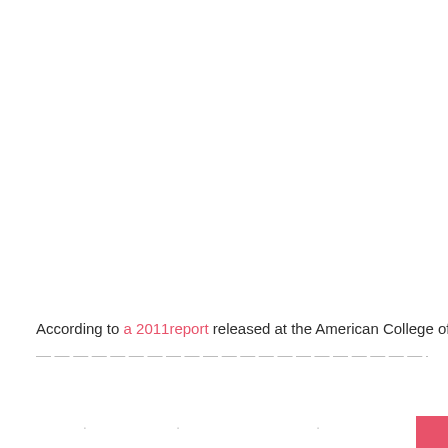According to a 2011report released at the American College of
...
...